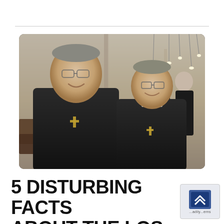[Figure (photo): Two Catholic bishops/archbishops in black clerical attire with pectoral crosses, smiling, standing in a cathedral interior with pews and hanging lights visible in the background. Other clergy visible behind them.]
5 DISTURBING FACTS ABOUT THE LOS ANGELES ARCHDIOCESE'S LACK OF